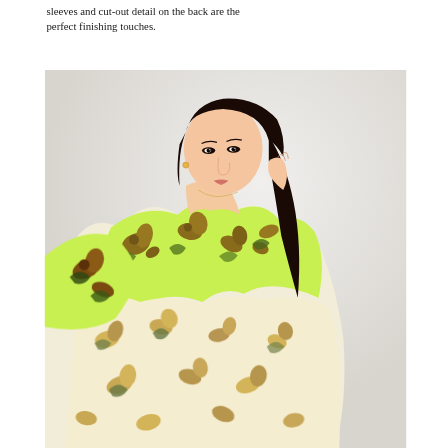sleeves and cut-out detail on the back are the perfect finishing touches.
[Figure (photo): A woman with long dark hair seated and posing, wearing a floral print dress with yellow-green and brown flower patterns on a light background. She holds one hand near her face.]